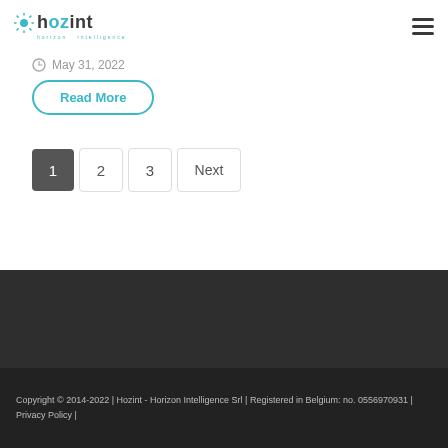hozint - horizon intelligence
May 31, 2022
Read More
1  2  3  Next
Copyright © 2014-2022 | Hozint - Horizon Intelligence Srl | Registered in Belgium: no. 0556970931 | Privacy Policy |